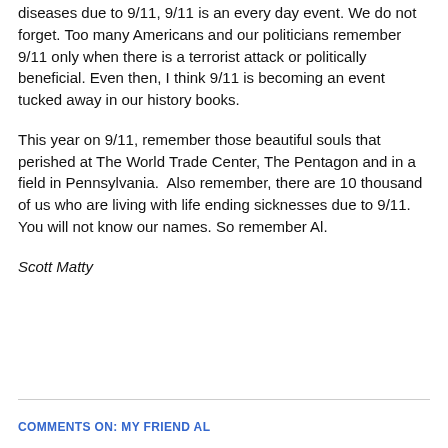diseases due to 9/11, 9/11 is an every day event. We do not forget. Too many Americans and our politicians remember 9/11 only when there is a terrorist attack or politically beneficial. Even then, I think 9/11 is becoming an event tucked away in our history books.
This year on 9/11, remember those beautiful souls that perished at The World Trade Center, The Pentagon and in a field in Pennsylvania.  Also remember, there are 10 thousand of us who are living with life ending sicknesses due to 9/11. You will not know our names. So remember Al.
Scott Matty
COMMENTS ON: MY FRIEND AL